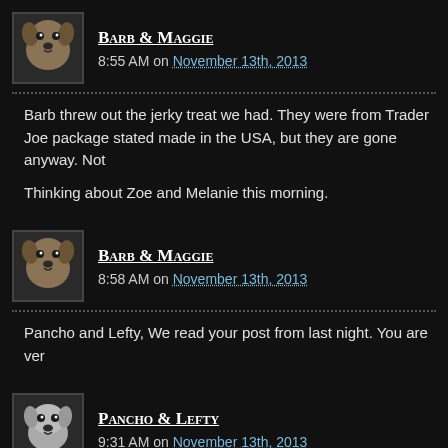Barb & Maggie — 8:55 AM on November 13th, 2013
Barb threw out the jerky treat we had. They were from Trader Joe package stated made in the USA, but they are gone anyway. Not

Thinking about Zoe and Melanie this morning.
Barb & Maggie — 8:58 AM on November 13th, 2013
Pancho and Lefty, We read your post from last night. You are ver
Pancho & Lefty — 9:31 AM on November 13th, 2013
B&M: You have no idea just how persuasive we can be. Wait unti person. No one can resist our look of innocence combined with e tilt and tail wag.